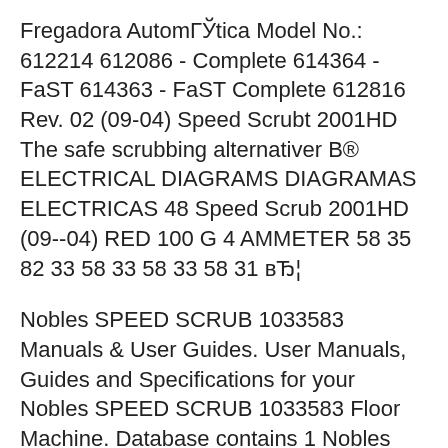Fregadora AutomГЎtica Model No.: 612214 612086 - Complete 614364 - FaST 614363 - FaST Complete 612816 Rev. 02 (09-04) Speed Scrubt 2001HD The safe scrubbing alternativer B® ELECTRICAL DIAGRAMS DIAGRAMAS ELECTRICAS 48 Speed Scrub 2001HD (09--04) RED 100 G 4 AMMETER 58 35 82 33 58 33 58 33 58 31 вЂ¦
Nobles SPEED SCRUB 1033583 Manuals & User Guides. User Manuals, Guides and Specifications for your Nobles SPEED SCRUB 1033583 Floor Machine. Database contains 1 Nobles SPEED SCRUB 1033583 Manuals (available for free online viewing or downloading in PDF): Operator's manual, operator and